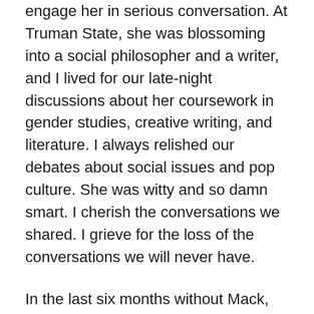engage her in serious conversation. At Truman State, she was blossoming into a social philosopher and a writer, and I lived for our late-night discussions about her coursework in gender studies, creative writing, and literature. I always relished our debates about social issues and pop culture. She was witty and so damn smart. I cherish the conversations we shared. I grieve for the loss of the conversations we will never have.
In the last six months without Mack, there have been untold moments when a news story, an NPR interview with a new author, a Buzz Feed quiz, or some crazy highlight on Sports Center has made me yearn to text her or call her and ask her opinion. I have even, in my head and under my breath, had discussions with her about Ferguson, about the Rolling Stone rape story, about Hillary's emails, and about the abysmal officiating in the